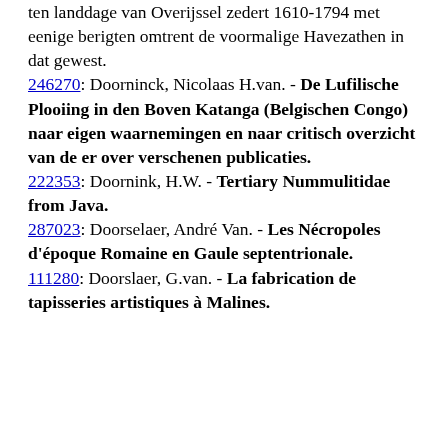ten landdage van Overijssel zedert 1610-1794 met eenige berigten omtrent de voormalige Havezathen in dat gewest.
246270: Doorninck, Nicolaas H.van. - De Lufilische Plooiing in den Boven Katanga (Belgischen Congo) naar eigen waarnemingen en naar critisch overzicht van de er over verschenen publicaties.
222353: Doornink, H.W. - Tertiary Nummulitidae from Java.
287023: Doorselaer, André Van. - Les Nécropoles d'époque Romaine en Gaule septentrionale.
111280: Doorslaer, G.van. - La fabrication de tapisseries artistiques à Malines.